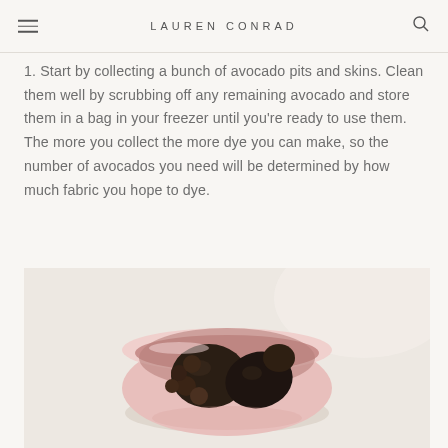LAUREN CONRAD
1. Start by collecting a bunch of avocado pits and skins. Clean them well by scrubbing off any remaining avocado and store them in a bag in your freezer until you're ready to use them. The more you collect the more dye you can make, so the number of avocados you need will be determined by how much fabric you hope to dye.
[Figure (photo): A pink ceramic bowl viewed from above containing dark avocado pits and skins, placed on a white/light surface]